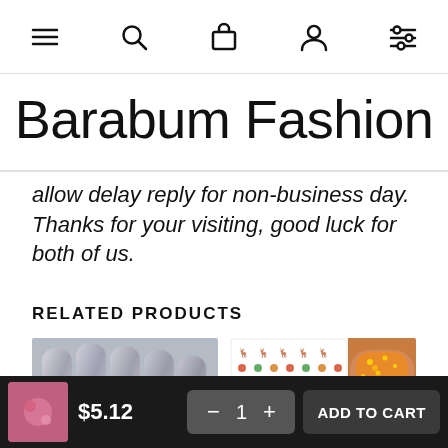Navigation bar with menu, search, cart, profile, and filter icons
Barabum Fashion
allow delay reply for non-business day. Thanks for your visiting, good luck for both of us.
RELATED PRODUCTS
[Figure (photo): Close-up photo of silver chrome nail art on hand]
[Figure (photo): Christmas themed nail sticker sheet and close-up of orange nail with gold glitter art]
$5.12
— 1 +
ADD TO CART